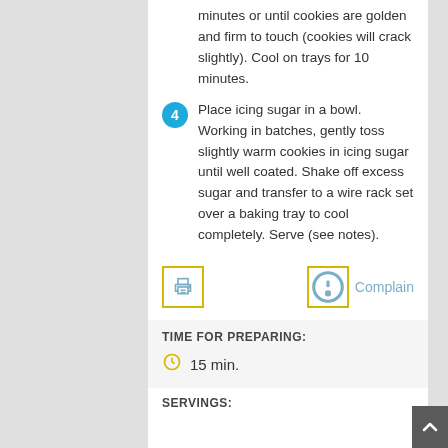minutes or until cookies are golden and firm to touch (cookies will crack slightly). Cool on trays for 10 minutes.
4. Place icing sugar in a bowl. Working in batches, gently toss slightly warm cookies in icing sugar until well coated. Shake off excess sugar and transfer to a wire rack set over a baking tray to cool completely. Serve (see notes).
[Figure (other): Print icon button (yellow border) and Complain button with info icon (yellow border)]
TIME FOR PREPARING:
15 min.
SERVINGS: